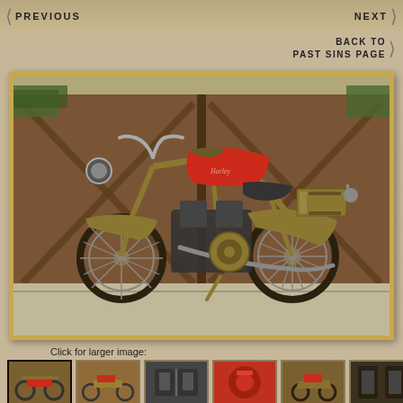PREVIOUS    NEXT
BACK TO
PAST SINS PAGE
[Figure (photo): Vintage Harley-Davidson motorcycle, gold/olive frame with red fuel tank, parked in front of large wooden garage doors. Side profile view showing full motorcycle including spoked wheels, V-twin engine, leather seat, front headlight, and rear luggage rack.]
Click for larger image:
[Figure (photo): Thumbnail 1: Same motorcycle front 3/4 view - selected/active thumbnail]
[Figure (photo): Thumbnail 2: Motorcycle side view similar angle]
[Figure (photo): Thumbnail 3: Close-up of engine components]
[Figure (photo): Thumbnail 4: Detail of fuel tank area, red color visible]
[Figure (photo): Thumbnail 5: Another angle of motorcycle]
[Figure (photo): Thumbnail 6: Close-up detail shot]